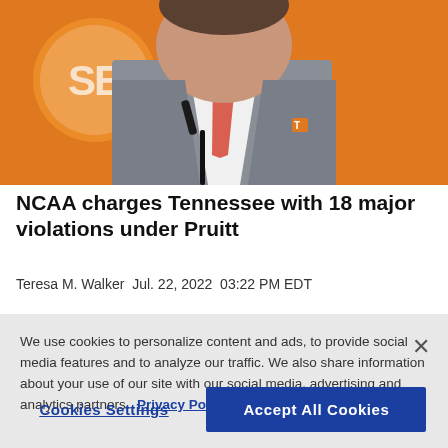[Figure (photo): A man in a gray suit with an orange/coral tie and a Tennessee 'T' pin stands at a podium microphone in front of an orange background with the SEC logo.]
NCAA charges Tennessee with 18 major violations under Pruitt
Teresa M. Walker Jul. 22, 2022 03:22 PM EDT
We use cookies to personalize content and ads, to provide social media features and to analyze our traffic. We also share information about your use of our site with our social media, advertising and analytics partners.  Privacy Policy
Cookies Settings  Accept All Cookies